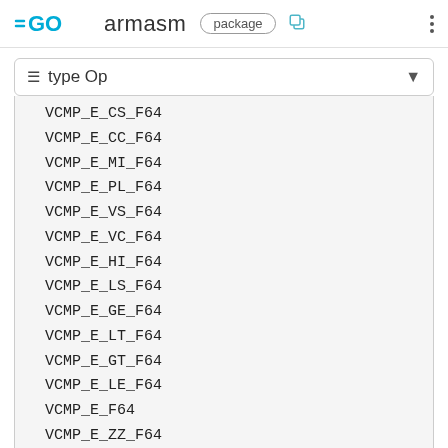GO armasm package
type Op
VCMP_E_CS_F64
VCMP_E_CC_F64
VCMP_E_MI_F64
VCMP_E_PL_F64
VCMP_E_VS_F64
VCMP_E_VC_F64
VCMP_E_HI_F64
VCMP_E_LS_F64
VCMP_E_GE_F64
VCMP_E_LT_F64
VCMP_E_GT_F64
VCMP_E_LE_F64
VCMP_E_F64
VCMP_E_ZZ_F64
VCVT_EQ_F32_FXS16
VCVT_NE_F32_FXS16
VCVT_CS_F32_FXS16